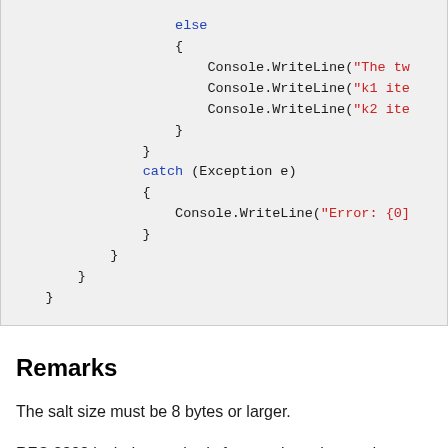[Figure (screenshot): Code block showing C# code with else block containing Console.WriteLine calls with string literals (truncated), catch (Exception e) block with Console.WriteLine, and closing braces.]
Remarks
The salt size must be 8 bytes or larger.
RFC 2898 includes methods for creating a key and initialization vector (IV) from a password and salt. You